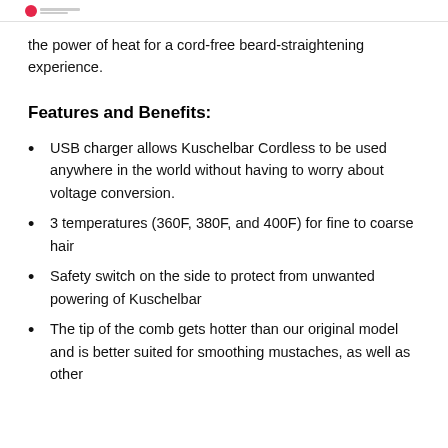the power of heat for a cord-free beard-straightening experience.
Features and Benefits:
USB charger allows Kuschelbar Cordless to be used anywhere in the world without having to worry about voltage conversion.
3 temperatures (360F, 380F, and 400F) for fine to coarse hair
Safety switch on the side to protect from unwanted powering of Kuschelbar
The tip of the comb gets hotter than our original model and is better suited for smoothing mustaches, as well as other